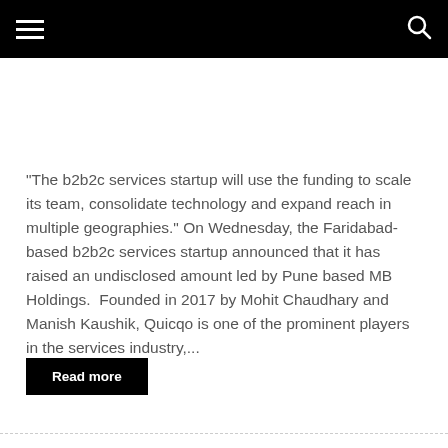“The b2b2c services startup will use the funding to scale its team, consolidate technology and expand reach in multiple geographies.” On Wednesday, the Faridabad-based b2b2c services startup announced that it has raised an undisclosed amount led by Pune based MB Holdings.  Founded in 2017 by Mohit Chaudhary and Manish Kaushik, Quicqo is one of the prominent players in the services industry,...
Read more